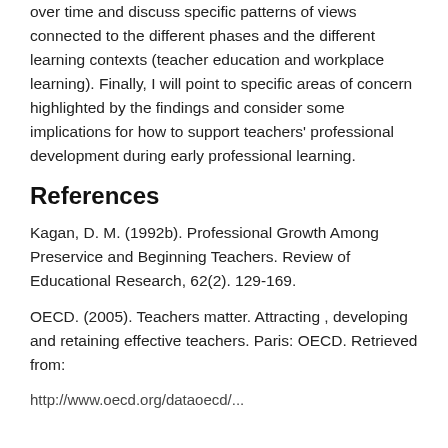over time and discuss specific patterns of views connected to the different phases and the different learning contexts (teacher education and workplace learning). Finally, I will point to specific areas of concern highlighted by the findings and consider some implications for how to support teachers' professional development during early professional learning.
References
Kagan, D. M. (1992b). Professional Growth Among Preservice and Beginning Teachers. Review of Educational Research, 62(2). 129-169.
OECD. (2005). Teachers matter. Attracting , developing and retaining effective teachers. Paris: OECD. Retrieved from:
http://www.oecd.org/dataoecd/...